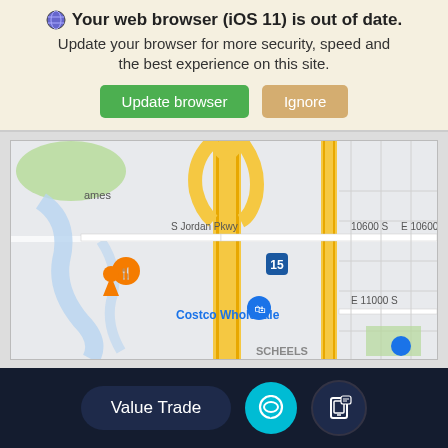Your web browser (iOS 11) is out of date. Update your browser for more security, speed and the best experience on this site.
[Figure (map): Google Maps screenshot showing area near S Jordan Pkwy, 10600 S, E 10600 S, E 11000 S, Interstate 15, Costco Wholesale, and SCHEELS locations in South Jordan, Utah.]
Value Trade
[Figure (infographic): Footer social media icons: Twitter, Facebook, YouTube, Instagram]